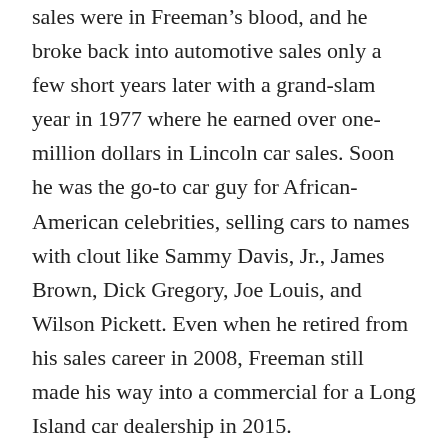sales were in Freeman's blood, and he broke back into automotive sales only a few short years later with a grand-slam year in 1977 where he earned over one-million dollars in Lincoln car sales. Soon he was the go-to car guy for African-American celebrities, selling cars to names with clout like Sammy Davis, Jr., James Brown, Dick Gregory, Joe Louis, and Wilson Pickett. Even when he retired from his sales career in 2008, Freeman still made his way into a commercial for a Long Island car dealership in 2015.
In 2007, Freeman would again connect with his military past accepting the Congressional Gold Medal from President George W. Bush as a member